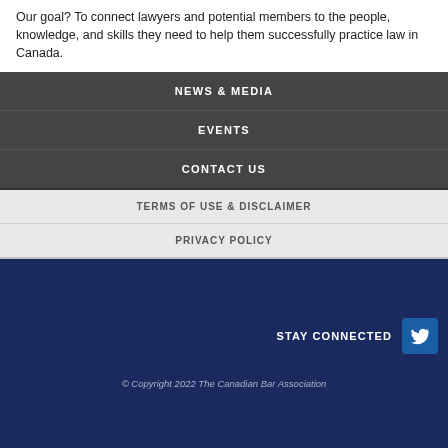Our goal? To connect lawyers and potential members to the people, knowledge, and skills they need to help them successfully practice law in Canada.
NEWS & MEDIA
EVENTS
CONTACT US
TERMS OF USE & DISCLAIMER
PRIVACY POLICY
STAY CONNECTED
© Copyright 2022 The Canadian Bar Association